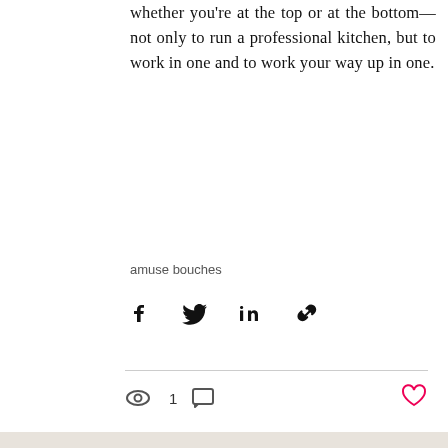whether you're at the top or at the bottom—not only to run a professional kitchen, but to work in one and to work your way up in one.
amuse bouches
[Figure (infographic): Social share icons: Facebook, Twitter, LinkedIn, and a link/chain icon]
[Figure (infographic): Post stats row: eye icon with view count 1, comment bubble icon, and a heart (like) icon on the right]
Recent Posts
See All
[Figure (photo): A person standing on a beach at dusk/dawn, silhouetted against a sky with clouds and water, with a dark circular chat button overlay in the lower right]